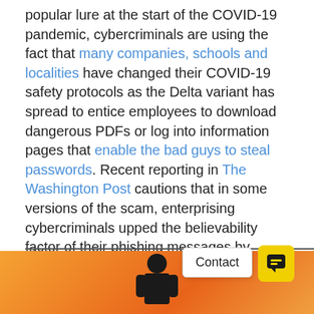popular lure at the start of the COVID-19 pandemic, cybercriminals are using the fact that many companies, schools and localities have changed their COVID-19 safety protocols as the Delta variant has spread to entice employees to download dangerous PDFs or log into information pages that enable the bad guys to steal passwords. Recent reporting in The Washington Post cautions that in some versions of the scam, enterprising cybercriminals upped the believability factor of their phishing messages by including figures about coronavirus infections and deaths in the body of each email, adding another compelling reason for the unlucky recipients to open the malware-laden attachment and more danger for companies to navigate. Altogether, phishing is on track to continue its pattern of experiencing triple-digit growth in 2021.
[Figure (illustration): Orange gradient background with a dark silhouette figure, partially visible at bottom of page. Contact button and yellow chat icon button overlaid.]